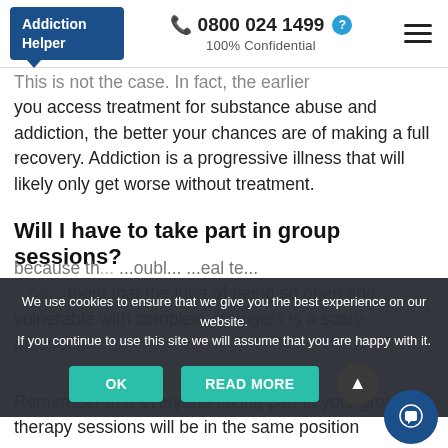Addiction Helper | 📞 0800 024 1499 | 100% Confidential
This is not the case. In fact, the earlier you access treatment for substance abuse and addiction, the better your chances are of making a full recovery. Addiction is a progressive illness that will likely only get worse without treatment.
Will I have to take part in group sessions?
because th... ...oubl... ...eal te... ...ng... ... them that the idea of being so open and vulnerable with complete strangers is a scary prospect.
Remember that everyone taking part in your group therapy sessions will be in the same position
We use cookies to ensure that we give you the best experience on our website. If you continue to use this site we will assume that you are happy with it.